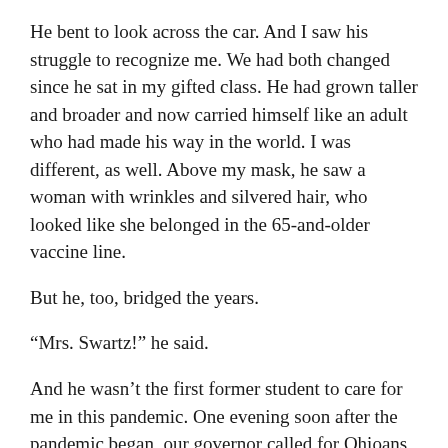He bent to look across the car. And I saw his struggle to recognize me. We had both changed since he sat in my gifted class. He had grown taller and broader and now carried himself like an adult who had made his way in the world. I was different, as well. Above my mask, he saw a woman with wrinkles and silvered hair, who looked like she belonged in the 65-and-older vaccine line.
But he, too, bridged the years.
“Mrs. Swartz!” he said.
And he wasn’t the first former student to care for me in this pandemic. One evening soon after the pandemic began, our governor called for Ohioans to look out for senior citizens.
“Pick up your telephone,” he said. “Give them a call.”